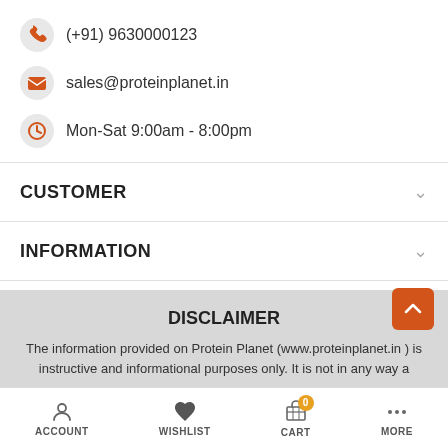(+91) 9630000123
sales@proteinplanet.in
Mon-Sat 9:00am - 8:00pm
CUSTOMER
INFORMATION
CONTACT
DISCLAIMER
The information provided on Protein Planet (www.proteinplanet.in ) is instructive and informational purposes only. It is not in any way a
ACCOUNT   WISHLIST   CART   MORE